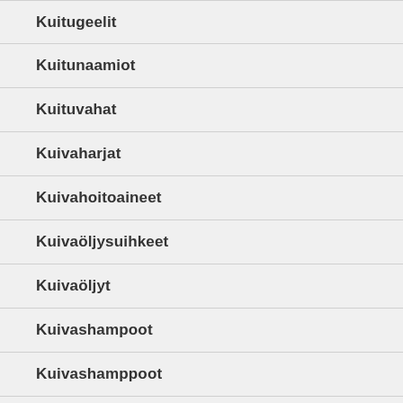Kuitugeelit
Kuitunaamiot
Kuituvahat
Kuivaharjat
Kuivahoitoaineet
Kuivaöljysuihkeet
Kuivaöljyt
Kuivashampoot
Kuivashamppoot